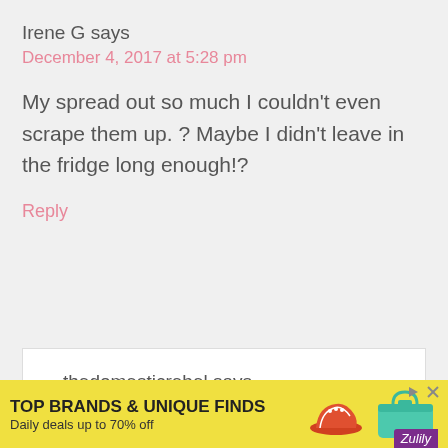Irene G says
December 4, 2017 at 5:28 pm
My spread out so much I couldn't even scrape them up. ? Maybe I didn't leave in the fridge long enough!?
Reply
thedomesticrebel says
December 5, 2017 at 1:36 pm
[Figure (infographic): Advertisement banner for Zulily: 'TOP BRANDS & UNIQUE FINDS, Daily deals up to 70% off' with yellow background, images of a shoe and teal bag, purple Zulily logo.]